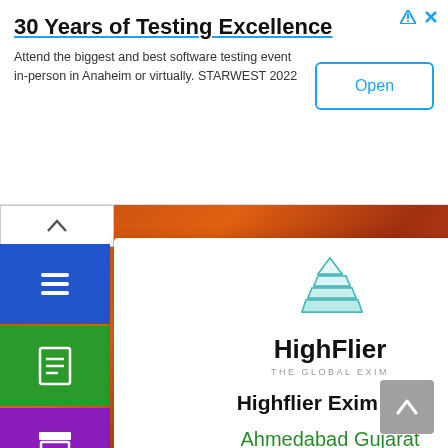[Figure (screenshot): Advertisement banner: '30 Years of Testing Excellence' with Open button and close controls]
30 Years of Testing Excellence
Attend the biggest and best software testing event in-person in Anaheim or virtually. STARWEST 2022
[Figure (screenshot): Navigation sidebar with blue, green, purple, teal, purple colored icon buttons (menu, document, archive, location, search)]
[Figure (logo): HighFlier The Global Exim pyramid logo]
HighFlier
THE GLOBAL EXIM
Highflier Exim LLP
Ahmedabad Gujarat India
View Company Data